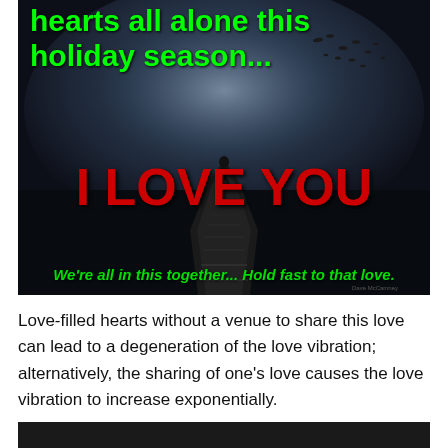[Figure (photo): Dark moody photo of a lone person standing at the end of a long dock or pier extending into a foggy, misty body of water. The sky is dark with fog and scattered birds in the upper right. Green bold text at top reads 'hearts all alone this holiday season...' Red bold text in the center reads 'I LOVE YOU'. Green italic text at the bottom reads 'We're all in this together... Hold fast to that love.']
Love-filled hearts without a venue to share this love can lead to a degeneration of the love vibration; alternatively, the sharing of one's love causes the love vibration to increase exponentially.